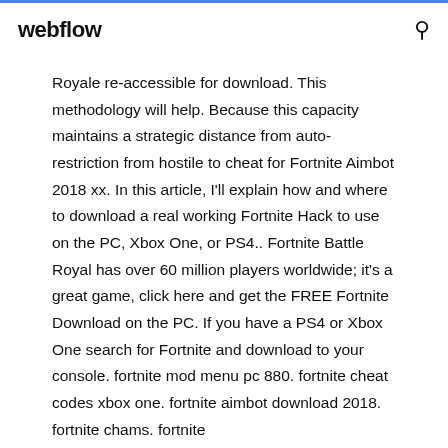webflow
Royale re-accessible for download. This methodology will help. Because this capacity maintains a strategic distance from auto-restriction from hostile to cheat for Fortnite Aimbot 2018 xx. In this article, I'll explain how and where to download a real working Fortnite Hack to use on the PC, Xbox One, or PS4.. Fortnite Battle Royal has over 60 million players worldwide; it's a great game, click here and get the FREE Fortnite Download on the PC. If you have a PS4 or Xbox One search for Fortnite and download to your console. fortnite mod menu pc 880. fortnite cheat codes xbox one. fortnite aimbot download 2018. fortnite chams. fortnite